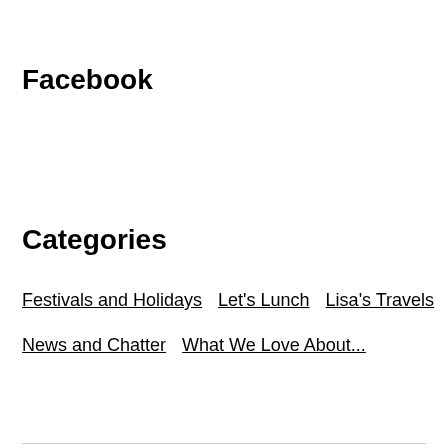Facebook
Categories
Festivals and Holidays
Let's Lunch
Lisa's Travels
News and Chatter
What We Love About...